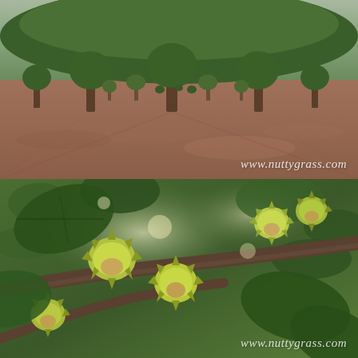[Figure (photo): Orchard photo showing rows of small trees with bare reddish-brown soil ground between them, viewed along a perspective corridor. Watermark 'www.nuttygrass.com' in white italic text at bottom right.]
[Figure (photo): Close-up photo of hazelnut clusters in green husks hanging from branches with large green leaves, sunlight visible through the canopy. Watermark 'www.nuttygrass.com' in white italic text at bottom right.]